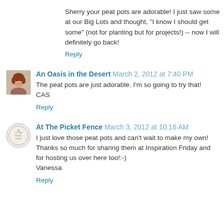Sherry your peat pots are adorable! I just saw some at our Big Lots and thought, "I know I should get some" (not for planting but for projects!) -- now I will definitely go back!
Reply
An Oasis in the Desert  March 2, 2012 at 7:40 PM
The peat pots are just adorable. I'm so going to try that! CAS
Reply
At The Picket Fence  March 3, 2012 at 10:16 AM
I just love those peat pots and can't wait to make my own! Thanks so much for sharing them at Inspiration Friday and for hosting us over here too!:-) Vanessa
Reply